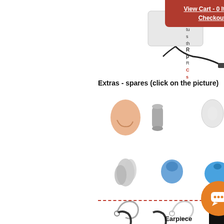View Cart - 0 Items | Checkout
[Figure (photo): Product image of a surveillance earpiece with cable and plug, shown from above on white background]
Extras - spares (click on the picture)
[Figure (photo): Grid of earpiece spare parts accessories: ear mold, tube adapters, ear tips, cleaning tools, blue bulb, coiled tubes, replacement hooks, carry case]
[Figure (photo): Bottom row earpiece accessories including coiled hooks and earpieces]
Earpiece
[Figure (other): Orange chat bubble button overlay]
[Figure (other): Red TOP button with upward arrow in bottom left corner]